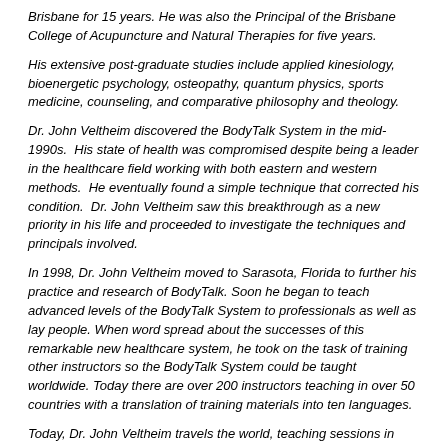Brisbane for 15 years. He was also the Principal of the Brisbane College of Acupuncture and Natural Therapies for five years.
His extensive post-graduate studies include applied kinesiology, bioenergetic psychology, osteopathy, quantum physics, sports medicine, counseling, and comparative philosophy and theology.
Dr. John Veltheim discovered the BodyTalk System in the mid-1990s. His state of health was compromised despite being a leader in the healthcare field working with both eastern and western methods. He eventually found a simple technique that corrected his condition. Dr. John Veltheim saw this breakthrough as a new priority in his life and proceeded to investigate the techniques and principals involved.
In 1998, Dr. John Veltheim moved to Sarasota, Florida to further his practice and research of BodyTalk. Soon he began to teach advanced levels of the BodyTalk System to professionals as well as lay people. When word spread about the successes of this remarkable new healthcare system, he took on the task of training other instructors so the BodyTalk System could be taught worldwide. Today there are over 200 instructors teaching in over 50 countries with a translation of training materials into ten languages.
Today, Dr. John Veltheim travels the world, teaching sessions in BodyTalk and its related wellness programs to professionals as well as lay people. He continues to mentor and train a network of instructors to ensure this remarkable new healthcare system can be taught worldwide.